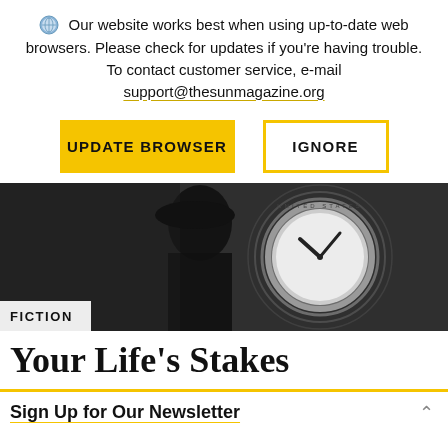Our website works best when using up-to-date web browsers. Please check for updates if you're having trouble. To contact customer service, e-mail support@thesunmagazine.org
[Figure (screenshot): Two buttons: a yellow 'UPDATE BROWSER' button and an outlined 'IGNORE' button]
[Figure (photo): Black and white photo of a silhouette of a person with a clock in the background, with a 'FICTION' label overlay]
Your Life's Stakes
Sign Up for Our Newsletter